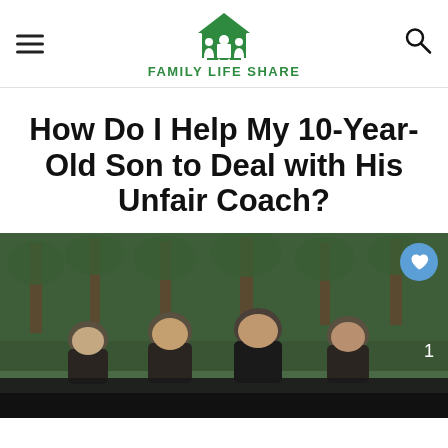FAMILY LIFE SHARE
How Do I Help My 10-Year-Old Son to Deal with His Unfair Coach?
[Figure (photo): Photograph showing the backs of several young boys (viewed from behind) standing together outdoors, with bare trees in the background. A blue circular heart/like button and the number 1 appear as UI overlays on the right side of the image.]